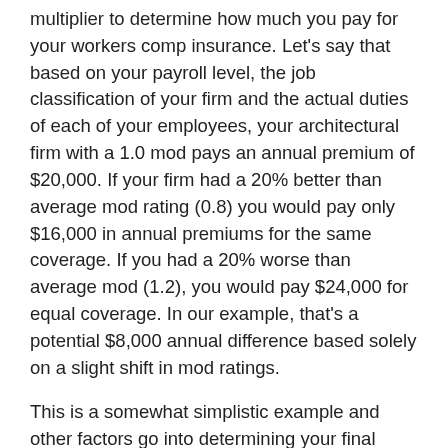multiplier to determine how much you pay for your workers comp insurance. Let's say that based on your payroll level, the job classification of your firm and the actual duties of each of your employees, your architectural firm with a 1.0 mod pays an annual premium of $20,000. If your firm had a 20% better than average mod rating (0.8) you would pay only $16,000 in annual premiums for the same coverage. If you had a 20% worse than average mod (1.2), you would pay $24,000 for equal coverage. In our example, that's a potential $8,000 annual difference based solely on a slight shift in mod ratings.
This is a somewhat simplistic example and other factors go into determining your final premiums, based on the laws in your state. For example, in some states, the mod is not applied to smaller companies with premiums below a given level. Also, in states that use experience rating adjustments (ERAs), only 30% of a medical-only claim will be reflected in your mod.
How do you improve your mod rating? By minimizing the